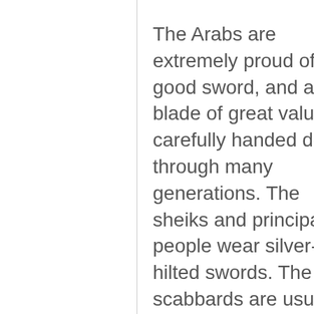The Arabs are extremely proud of a good sword, and a blade of great value is carefully handed down through many generations. The sheiks and principal people wear silver-hilted swords. The scabbards are usually formed of two thin strips of elastic but soft wood, covered with leather. No Arab would accept a metal scabbard, as it would destroy the keen edge of